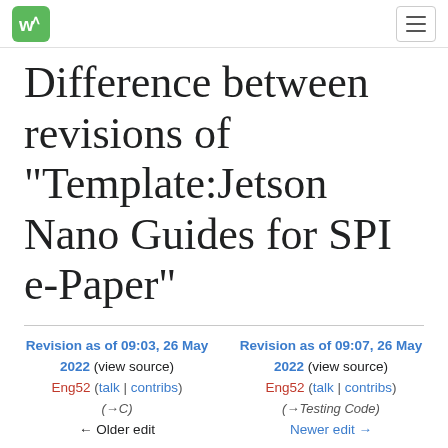Waveshare Wiki header with logo and navigation
Difference between revisions of "Template:Jetson Nano Guides for SPI e-Paper"
Revision as of 09:03, 26 May 2022 (view source)
Eng52 (talk | contribs)
(→C)
← Older edit
Revision as of 09:07, 26 May 2022 (view source)
Eng52 (talk | contribs)
(→Testing Code)
Newer edit →